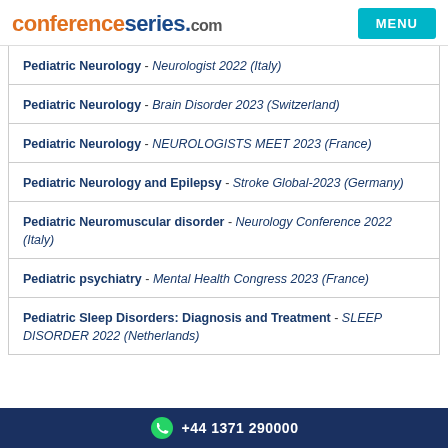conferenceseries.com
Pediatric Neurology - Neurologist 2022 (Italy)
Pediatric Neurology - Brain Disorder 2023 (Switzerland)
Pediatric Neurology - NEUROLOGISTS MEET 2023 (France)
Pediatric Neurology and Epilepsy - Stroke Global-2023 (Germany)
Pediatric Neuromuscular disorder - Neurology Conference 2022 (Italy)
Pediatric psychiatry - Mental Health Congress 2023 (France)
Pediatric Sleep Disorders: Diagnosis and Treatment - SLEEP DISORDER 2022 (Netherlands)
+44 1371 290000